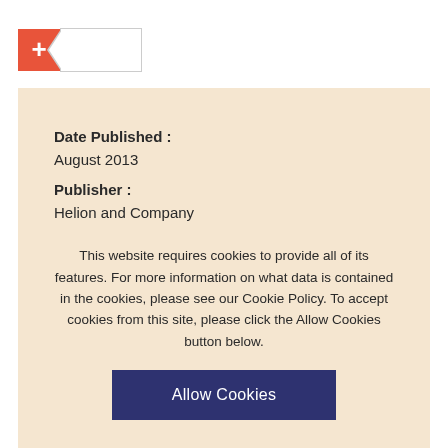[Figure (other): Orange plus button with a tag/label shape outline next to it]
Date Published :
August 2013
Publisher :
Helion and Company
Language:
English
Series :
Helion Studies in Military History
Illustration :
30 b/w photos, 1 map
This website requires cookies to provide all of its features. For more information on what data is contained in the cookies, please see our Cookie Policy. To accept cookies from this site, please click the Allow Cookies button below.
Allow Cookies